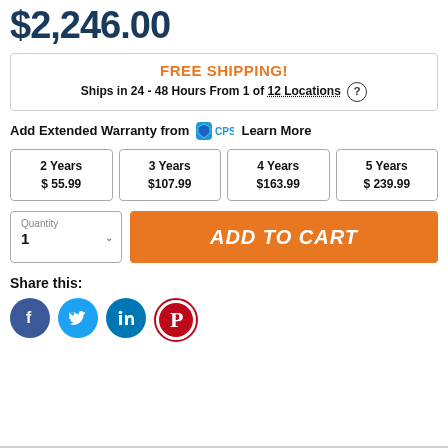$2,246.00
FREE SHIPPING!
Ships in 24 - 48 Hours From 1 of 12 Locations ?
Add Extended Warranty from CPS Learn More
| 2 Years
$55.99 | 3 Years
$107.99 | 4 Years
$163.99 | 5 Years
$239.99 |
Quantity: 1  ADD TO CART
Share this:
[Figure (infographic): Social share icons: Facebook, Twitter, LinkedIn, Pinterest]